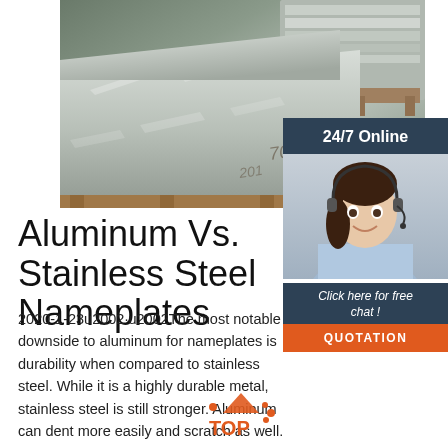[Figure (photo): Stainless steel or aluminum sheets stacked in a warehouse/industrial setting, with reflective metallic surfaces visible.]
[Figure (photo): Woman with headset smiling, representing a 24/7 online customer service agent.]
24/7 Online
Click here for free chat !
QUOTATION
Aluminum Vs. Stainless Steel Nameplates
2020-1-23u2002·u2002The most notable downside to aluminum for nameplates is durability when compared to stainless steel. While it is a highly durable metal, stainless steel is still stronger. Aluminum can dent more easily and scratch as well. As for stainless steel, it is incredibly durable.
[Figure (logo): TOP logo with orange triangle/arrow icon and dots, orange text reading TOP]